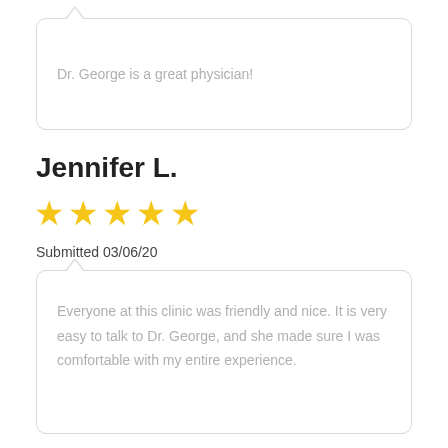Dr. George is a great physician!
Jennifer L.
[Figure (other): Five yellow star rating]
Submitted 03/06/20
Everyone at this clinic was friendly and nice. It is very easy to talk to Dr. George, and she made sure I was comfortable with my entire experience.